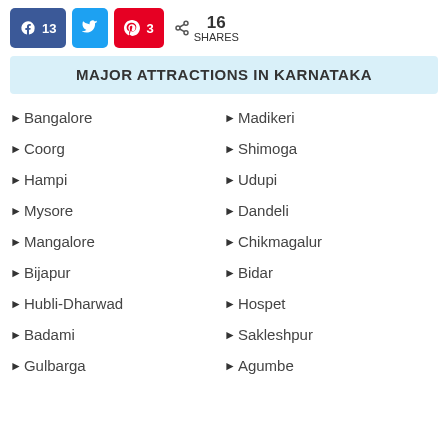Social share bar: Facebook 13, Twitter, Pinterest 3, 16 SHARES
MAJOR ATTRACTIONS IN KARNATAKA
Bangalore
Madikeri
Coorg
Shimoga
Hampi
Udupi
Mysore
Dandeli
Mangalore
Chikmagalur
Bijapur
Bidar
Hubli-Dharwad
Hospet
Badami
Sakleshpur
Gulbarga
Agumbe